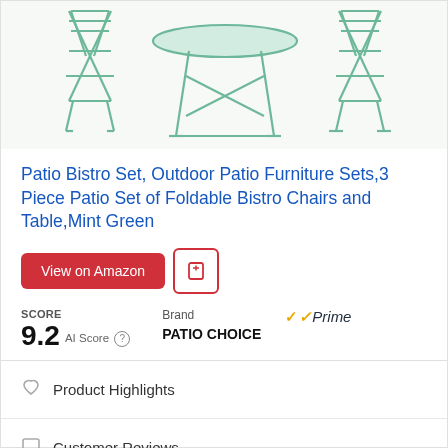[Figure (photo): Mint green metal folding bistro chairs and table set photographed from above, showing the wire frame construction on a white background]
Patio Bistro Set, Outdoor Patio Furniture Sets,3 Piece Patio Set of Foldable Bistro Chairs and Table,Mint Green
View on Amazon [button] [save icon button]
SCORE 9.2 AI Score   Brand PATIO CHOICE   Prime
Product Highlights
Customer Reviews